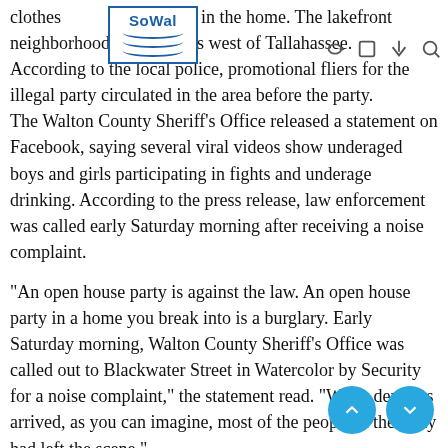[Figure (logo): SoWal logo with blue border and wave lines]
clothes jewelry while in the home. The lakefront neighborhood is about les west of Tallahassee.
According to the local police, promotional fliers for the illegal party circulated in the area before the party.
The Walton County Sheriff's Office released a statement on Facebook, saying several viral videos show underaged boys and girls participating in fights and underage drinking. According to the press release, law enforcement was called early Saturday morning after receiving a noise complaint.

"An open house party is against the law. An open house party in a home you break into is a burglary. Early Saturday morning, Walton County Sheriff's Office was called out to Blackwater Street in Watercolor by Security for a noise complaint," the statement read. "When deputies arrived, as you can imagine, most of the people at the party had left the scene."
Police confirmed that the videos were circulating on social media sites, including Instagram and Snapchat. The videos showed several teenagers turning the living room into a boxing ring.
"Since then, videos are circulating on Snapchat, Instagram and other social media platforms with some of the highlights. Including were some of the people attending turn the foyer of the $8 million home into a boxing ring," the statement continued. "H ar sliver of information; Snapchat isn't private. You may think it is if you are a teenager or someone in their early 20s and you are not